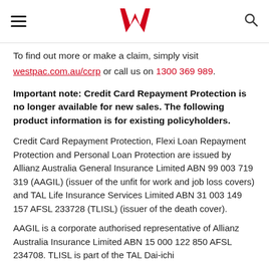Westpac navigation header with hamburger menu, Westpac logo, and search icon
To find out more or make a claim, simply visit westpac.com.au/ccrp or call us on 1300 369 989.
Important note: Credit Card Repayment Protection is no longer available for new sales. The following product information is for existing policyholders.
Credit Card Repayment Protection, Flexi Loan Repayment Protection and Personal Loan Protection are issued by Allianz Australia General Insurance Limited ABN 99 003 719 319 (AAGIL) (issuer of the unfit for work and job loss covers) and TAL Life Insurance Services Limited ABN 31 003 149 157 AFSL 233728 (TLISL) (issuer of the death cover).
AAGIL is a corporate authorised representative of Allianz Australia Insurance Limited ABN 15 000 122 850 AFSL 234708. TLISL is part of the TAL Dai-ichi